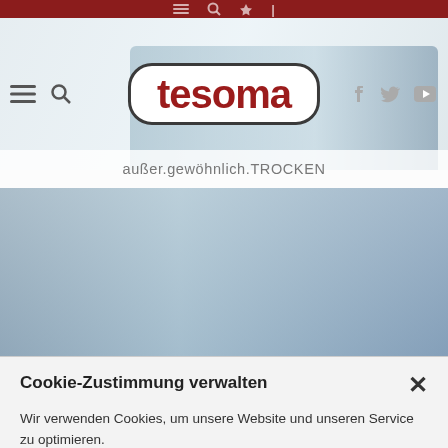tesoma — außer.gewöhnlich.TROCKEN
Cookie-Zustimmung verwalten
Wir verwenden Cookies, um unsere Website und unseren Service zu optimieren.
Cookies akzeptieren
Ablehnen
Einstellungen anzeigen